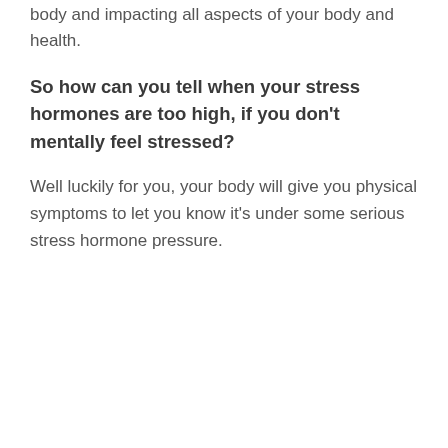body and impacting all aspects of your body and health.
So how can you tell when your stress hormones are too high, if you don't mentally feel stressed?
Well luckily for you, your body will give you physical symptoms to let you know it's under some serious stress hormone pressure.